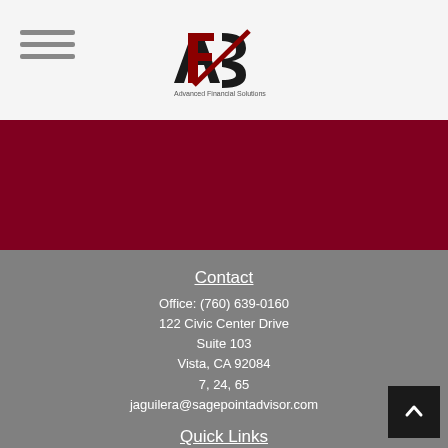[Figure (logo): AFS Advanced Financial Solutions logo with stylized lettering]
Contact
Office: (760) 639-0160
122 Civic Center Drive
Suite 103
Vista, CA 92084
7, 24, 65
jaguilera@sagepointadvisor.com
Quick Links
Retirement
Investment
Estate
Insurance